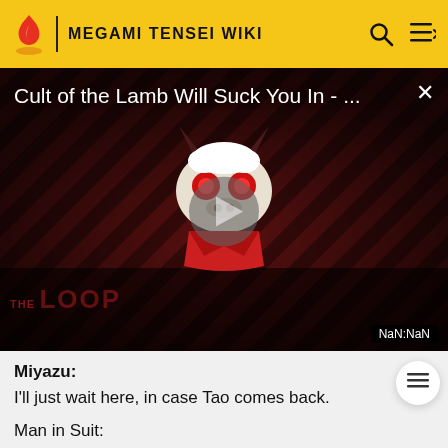MEGAMI TENSEI WIKI
[Figure (screenshot): Video thumbnail for 'Cult of the Lamb Will Suck You In - ...' showing a cartoon demon/monster character on a dark red diagonal striped background with a play button overlay and 'THE LOOP' watermark. Timestamp shows NaN:NaN.]
Miyazu:
I'll just wait here, in case Tao comes back.
Man in Suit:
The high school student with glasses? Yeah, he's long gone. Went out of the station, maybe chasing whatever...